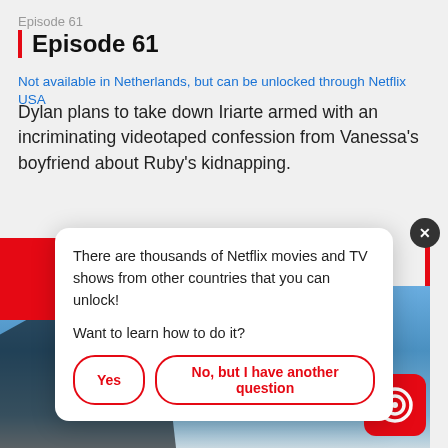Episode 61
Episode 61
Not available in Netherlands, but can be unlocked through Netflix USA
Dylan plans to take down Iriarte armed with an incriminating videotaped confession from Vanessa's boyfriend about Ruby's kidnapping.
[Figure (screenshot): Popup dialog over Netflix episode page with TV show image (woman with tattoo, TIJERAS text), red square thumbnail partially visible, and NFC logo in corner]
There are thousands of Netflix movies and TV shows from other countries that you can unlock!

Want to learn how to do it?
Yes
No, but I have another question